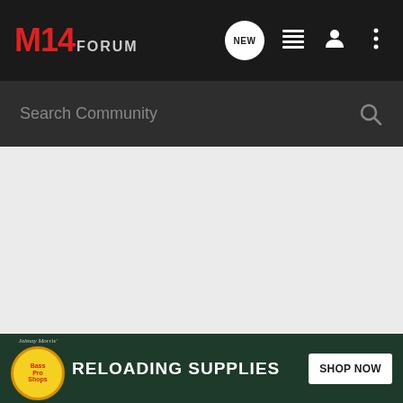M14 FORUM
Search Community
[Figure (screenshot): Main content area of M14Forum website, showing an empty/loading gray content area]
[Figure (infographic): Bass Pro Shops advertisement banner: logo, text RELOADING SUPPLIES, and SHOP NOW button on dark green background]